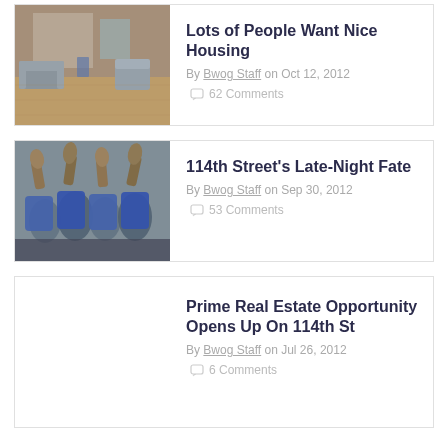[Figure (photo): Interior room photo showing lounge/living area with sofas and wooden floors]
Lots of People Want Nice Housing
By Bwog Staff on Oct 12, 2012
62 Comments
[Figure (photo): Group of people in blue shirts raising their legs/feet in the air]
114th Street's Late-Night Fate
By Bwog Staff on Sep 30, 2012
53 Comments
Prime Real Estate Opportunity Opens Up On 114th St
By Bwog Staff on Jul 26, 2012
6 Comments